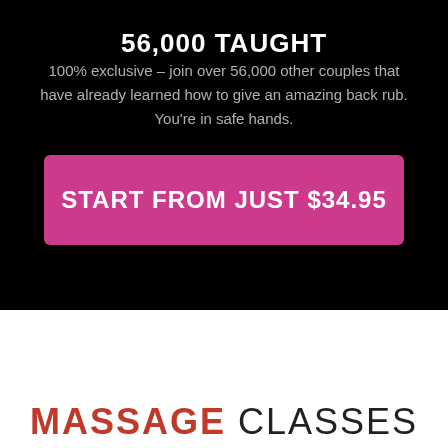56,000 TAUGHT
100% exclusive – join over 56,000 other couples that have already learned how to give an amazing back rub. You're in safe hands.
START FROM JUST $34.95
MASSAGE CLASSES